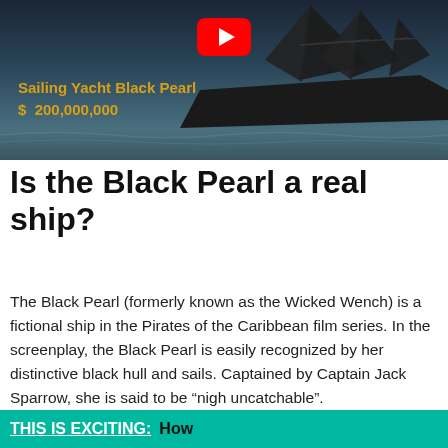[Figure (screenshot): YouTube thumbnail showing a sailing yacht (Black Pearl) with dark sails on the ocean, with a YouTube play button icon, overlaid text reading 'Sailing Yacht Black Pearl' and '$ 200,000,000' in gold color]
Is the Black Pearl a real ship?
The Black Pearl (formerly known as the Wicked Wench) is a fictional ship in the Pirates of the Caribbean film series. In the screenplay, the Black Pearl is easily recognized by her distinctive black hull and sails. Captained by Captain Jack Sparrow, she is said to be “nigh uncatchable”.
THIS IS EXCITING:  How